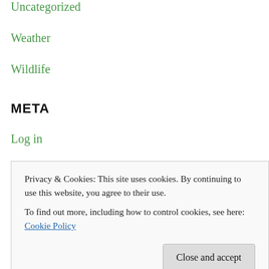Uncategorized
Weather
Wildlife
META
Log in
Entries RSS
Comments RSS
Privacy & Cookies: This site uses cookies. By continuing to use this website, you agree to their use.
To find out more, including how to control cookies, see here: Cookie Policy
Close and accept